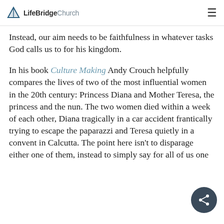LifeBridge Church
Instead, our aim needs to be faithfulness in whatever tasks God calls us to for his kingdom.
In his book Culture Making Andy Crouch helpfully compares the lives of two of the most influential women in the 20th century: Princess Diana and Mother Teresa, the princess and the nun. The two women died within a week of each other, Diana tragically in a car accident frantically trying to escape the paparazzi and Teresa quietly in a convent in Calcutta. The point here isn't to disparage either one of them, instead to simply say for all of us one